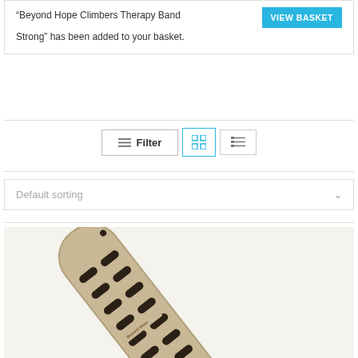“Beyond Hope Climbers Therapy Band Strong” has been added to your basket.
Default sorting
[Figure (photo): Photo of a wooden climbing training board/fingerboard with multiple oval slots and holes, angled diagonally, showing the Beyond Hope brand]